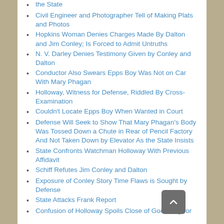the State
Civil Engineer and Photographer Tell of Making Plats and Photos
Hopkins Woman Denies Charges Made By Dalton and Jim Conley; Is Forced to Admit Untruths
N. V. Darley Denies Testimony Given by Conley and Dalton
Conductor Also Swears Epps Boy Was Not on Car With Mary Phagan
Holloway, Witness for Defense, Riddled By Cross-Examination
Couldn't Locate Epps Boy When Wanted in Court
Defense Will Seek to Show That Mary Phagan's Body Was Tossed Down a Chute in Rear of Pencil Factory And Not Taken Down by Elevator As the State Insists
State Confronts Watchman Holloway With Previous Affidavit
Schiff Refutes Jim Conley and Dalton
Exposure of Conley Story Time Flaws is Sought by Defense
State Attacks Frank Report
Confusion of Holloway Spoils Close of Good Day for